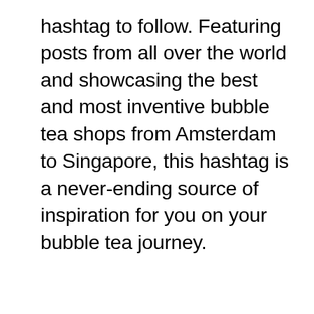hashtag to follow. Featuring posts from all over the world and showcasing the best and most inventive bubble tea shops from Amsterdam to Singapore, this hashtag is a never-ending source of inspiration for you on your bubble tea journey.